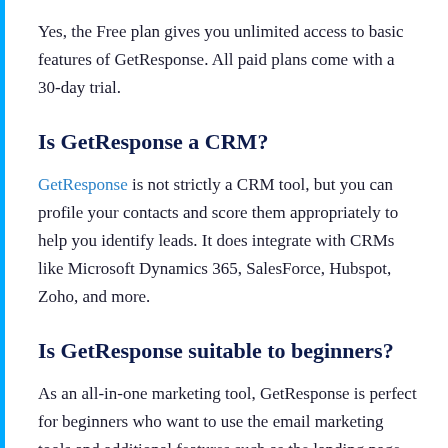Yes, the Free plan gives you unlimited access to basic features of GetResponse. All paid plans come with a 30-day trial.
Is GetResponse a CRM?
GetResponse is not strictly a CRM tool, but you can profile your contacts and score them appropriately to help you identify leads. It does integrate with CRMs like Microsoft Dynamics 365, SalesForce, Hubspot, Zoho, and more.
Is GetResponse suitable to beginners?
As an all-in-one marketing tool, GetResponse is perfect for beginners who want to use the email marketing tools and additional features such as the landing page builder, webinar feature, automation features at a reasonable price.